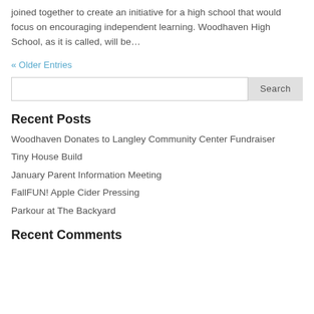joined together to create an initiative for a high school that would focus on encouraging independent learning. Woodhaven High School, as it is called, will be…
« Older Entries
Recent Posts
Woodhaven Donates to Langley Community Center Fundraiser
Tiny House Build
January Parent Information Meeting
FallFUN! Apple Cider Pressing
Parkour at The Backyard
Recent Comments